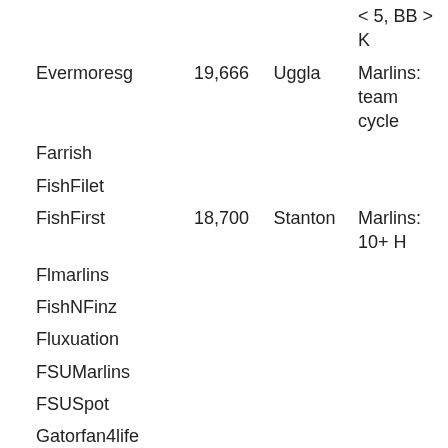| Name | Number | Person | Description |
| --- | --- | --- | --- |
|  |  |  | < 5, BB > K |
| Evermoresg | 19,666 | Uggla | Marlins: team cycle |
| Farrish |  |  |  |
| FishFilet |  |  |  |
| FishFirst | 18,700 | Stanton | Marlins: 10+ H |
| Flmarlins |  |  |  |
| FishNFinz |  |  |  |
| Fluxuation |  |  |  |
| FSUMarlins |  |  |  |
| FSUSpot |  |  |  |
| Gatorfan4life |  |  |  |
| GMFB |  |  |  |
| Guitarist |  |  |  |
| HadMatter |  |  |  |
| Hoyamarlin |  |  |  |
| Hurricane |  |  |  |
| Incipient senescence | 15,000 | Hanley | Volstad ER < |